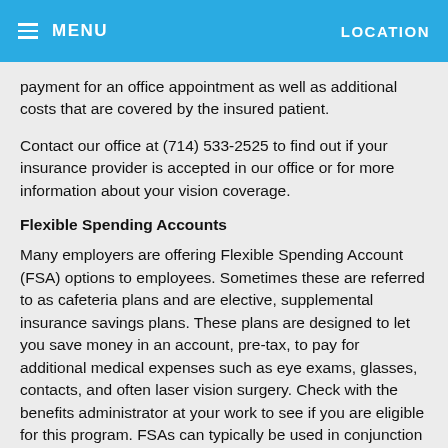MENU   LOCATION
payment for an office appointment as well as additional costs that are covered by the insured patient.
Contact our office at (714) 533-2525 to find out if your insurance provider is accepted in our office or for more information about your vision coverage.
Flexible Spending Accounts
Many employers are offering Flexible Spending Account (FSA) options to employees. Sometimes these are referred to as cafeteria plans and are elective, supplemental insurance savings plans. These plans are designed to let you save money in an account, pre-tax, to pay for additional medical expenses such as eye exams, glasses, contacts, and often laser vision surgery. Check with the benefits administrator at your work to see if you are eligible for this program. FSAs can typically be used in conjunction with any vision insurance plan to offset any out-of-pocket costs on your behalf.